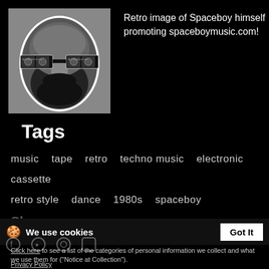[Figure (photo): Retro black and white photo of a bearded man wearing large cassette tape glasses, promoting spaceboymusic.com, set against a gray background with a white oval outline around the face.]
Retro image of Spaceboy himself promoting spaceboymusic.com!
Tags
music  tape  retro  techno music  electronic  cassette  retro style  dance  1980s  spaceboy
Share
We use cookies
Click here to see a list of the categories of personal information we collect and what we use them for ("Notice at Collection").
Privacy Policy
Do Not Sell My Personal Information
By using this website, I agree to the Terms and Conditions